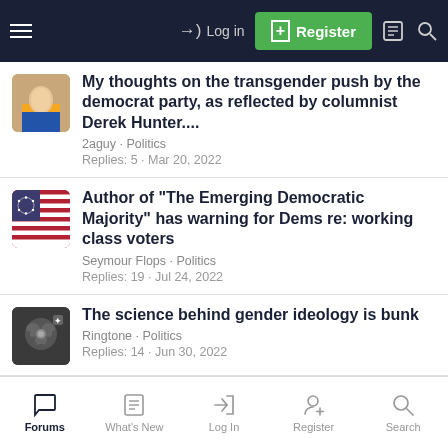Log in | Register
My thoughts on the transgender push by the democrat party, as reflected by columnist Derek Hunter.... · 2aguy · Politics · Replies: 5 · Mar 20, 2022
Author of "The Emerging Democratic Majority" has warning for Dems re: working class voters · Seymour Flops · Politics · Replies: 19 · Jul 24, 2022
The science behind gender ideology is bunk · Ringtone · Politics · Replies: 14 · Jun 30, 2022
Forums | What's New | Log In | Register | Search